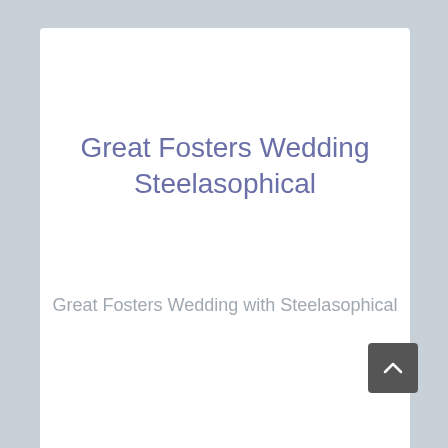Great Fosters Wedding Steelasophical
Great Fosters Wedding with Steelasophical